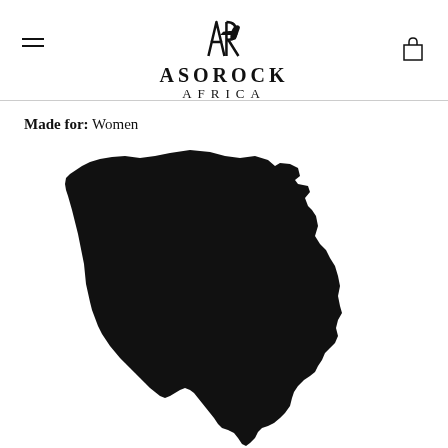[Figure (logo): Asorock Africa brand logo with stylized AR monogram above text ASOROCK AFRICA]
Made for: Women
[Figure (illustration): Black silhouette of the African continent map]